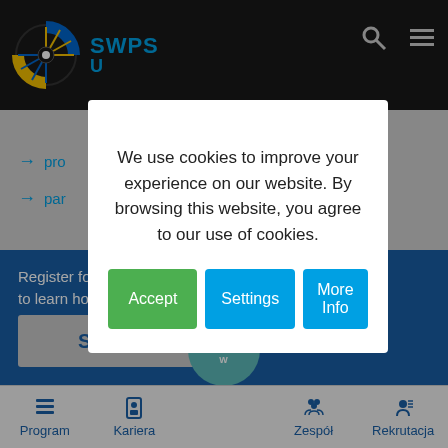[Figure (screenshot): SWPS University website screenshot showing navigation bar with SWPS logo, cookie consent modal, blue section with registration text, sign up button, apply now circle, and bottom navigation bar with Program, Kariera, Zespół, Rekrutacja icons]
We use cookies to improve your experience on our website. By browsing this website, you agree to our use of cookies.
Accept
Settings
More Info
Register for
to learn how the first days at SWPS University look like
and meet our Ambassador Chenay
Sign up!
Apply now
Program
Kariera
Zespół
Rekrutacja